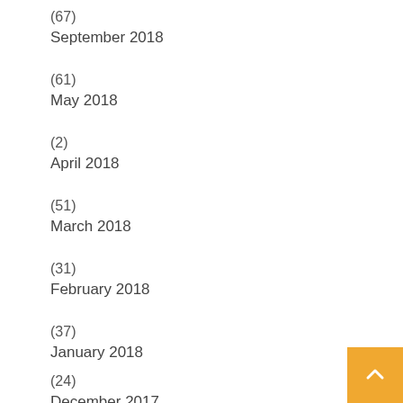(67)
September 2018
(61)
May 2018
(2)
April 2018
(51)
March 2018
(31)
February 2018
(37)
January 2018
(24)
December 2017